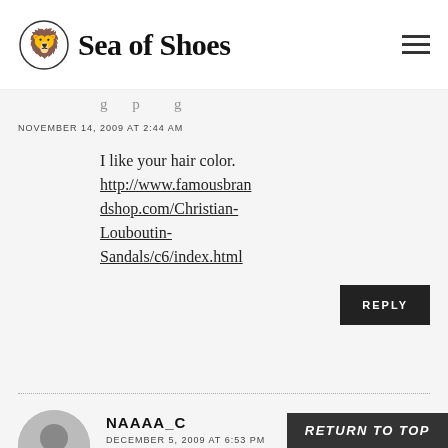Sea of Shoes
NOVEMBER 14, 2009 AT 2:44 AM
I like your hair color. http://www.famousbrandshop.com/Christian-Louboutin-Sandals/c6/index.html
REPLY
NAAAA_C
DECEMBER 5, 2009 AT 6:53 PM
I am Brazilian and loved We have found